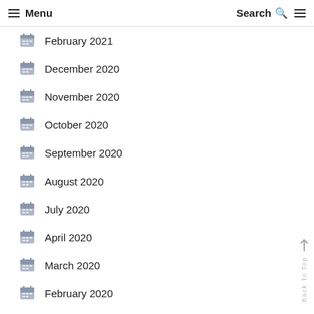Menu | Search
February 2021
December 2020
November 2020
October 2020
September 2020
August 2020
July 2020
April 2020
March 2020
February 2020